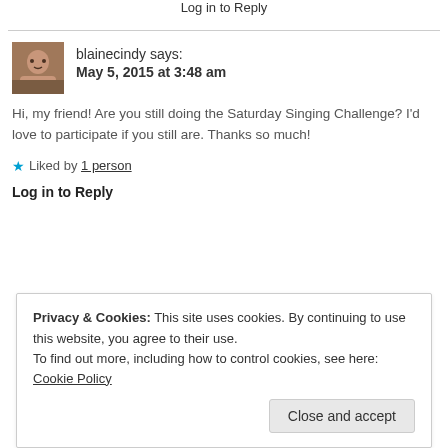Log in to Reply
blainecindy says:
May 5, 2015 at 3:48 am
Hi, my friend! Are you still doing the Saturday Singing Challenge? I'd love to participate if you still are. Thanks so much!
★ Liked by 1 person
Log in to Reply
Privacy & Cookies: This site uses cookies. By continuing to use this website, you agree to their use.
To find out more, including how to control cookies, see here: Cookie Policy
Close and accept